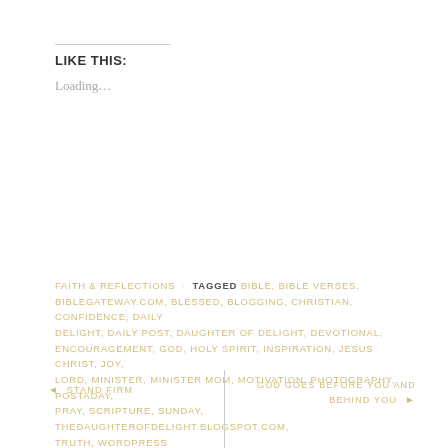LIKE THIS:
Loading…
FAITH & REFLECTIONS · TAGGED BIBLE, BIBLE VERSES, BIBLEGATEWAY.COM, BLESSED, BLOGGING, CHRISTIAN, CONFIDENCE, DAILY DELIGHT, DAILY POST, DAUGHTER OF DELIGHT, DEVOTIONAL, ENCOURAGEMENT, GOD, HOLY SPIRIT, INSPIRATION, JESUS CHRIST, JOY, LORD, MINISTER, MINISTER MOM, MOTIVATION, PHOTOGRAPHY, POSTADAY, PRAY, SCRIPTURE, SUNDAY, THEDAUGHTEROFDELIGHT.BLOGSPOT.COM, TRUTH, WORDPRESS
◄  STAND FIRM
GOD GOES BEFORE YOU AND BEHIND YOU  ►